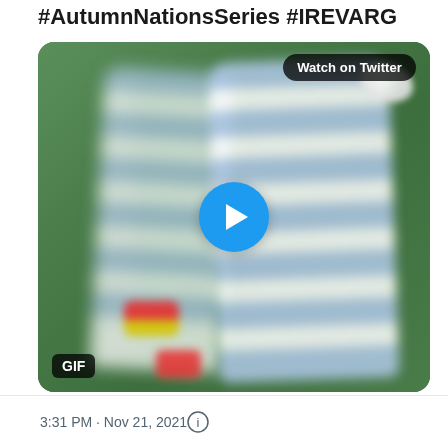#AutumnNationsSeries #IREVARG
[Figure (screenshot): A blurred action GIF from a rugby match showing Argentina players in blue and white horizontal stripes and an Ireland player in green, running on a green pitch. A rugby ball is visible top right. There is a 'Watch on Twitter' badge in the top right corner, a blue circular play button in the center, and a 'GIF' label in the bottom left corner.]
3:31 PM · Nov 21, 2021